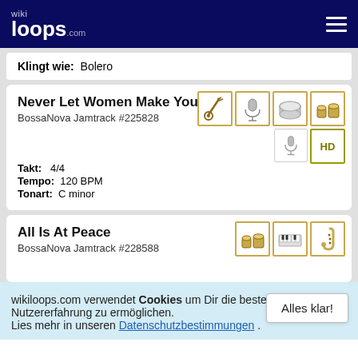wikiloops.com
Klingt wie: Bolero
Never Let Women Make You Cry
BossaNova Jamtrack #225828
[Figure (illustration): Instrument icons: guitar, microphone, drum, bongo, microphone, HD badge]
Takt: 4/4
Tempo: 120 BPM
Tonart: C minor
All Is At Peace
BossaNova Jamtrack #228588
[Figure (illustration): Instrument icons: bongo, keyboard, saxophone]
wikiloops.com verwendet Cookies um Dir die beste Nutzererfahrung zu ermöglichen. Lies mehr in unseren Datenschutzbestimmungen .